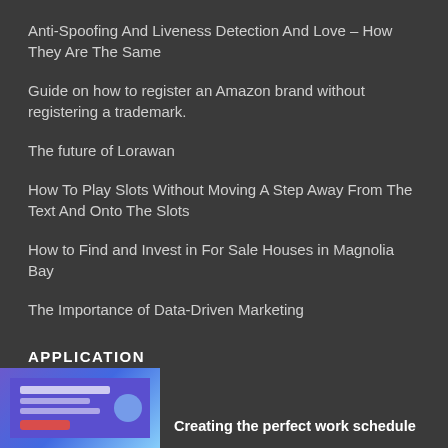Anti-Spoofing And Liveness Detection And Love – How They Are The Same
Guide on how to register an Amazon brand without registering a trademark.
The future of Lorawan
How To Play Slots Without Moving A Step Away From The Text And Onto The Slots
How to Find and Invest in For Sale Houses in Magnolia Bay
The Importance of Data-Driven Marketing
APPLICATION
Creating the perfect work schedule